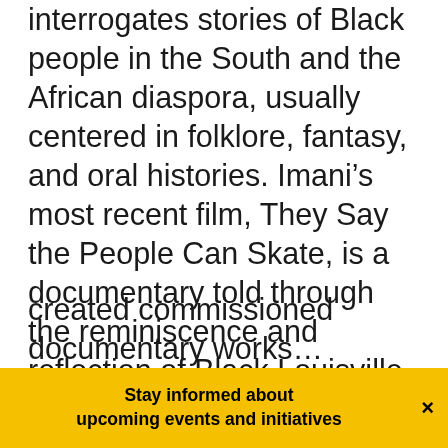interrogates stories of Black people in the South and the African diaspora, usually centered in folklore, fantasy, and oral histories. Imani's most recent film, They Say the People Can Skate, is a documentary told through the reminiscence and reflection of Black Louisville residents' recollection of roller-skating culture in Louisville, Kentucky. Imani co-directed For Our Girls, a love letter to Black daughters—acknowledging the sacred, and at times, tense relationship mothers and daughters share as they face challenges and accept each other's flaws. The film...
created commissioned documentary works...
Stay informed about upcoming events and initiatives